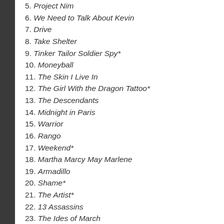5. Project Nim
6. We Need to Talk About Kevin
7. Drive
8. Take Shelter
9. Tinker Tailor Soldier Spy*
10. Moneyball
11. The Skin I Live In
12. The Girl With the Dragon Tattoo*
13. The Descendants
14. Midnight in Paris
15. Warrior
16. Rango
17. Weekend*
18. Martha Marcy May Marlene
19. Armadillo
20. Shame*
21. The Artist*
22. 13 Assassins
23. The Ides of March
24. Win Win
25. Contagion
26. Attack the Block
27. Of Gods and Men
28. Snowtown
29. The Muppets